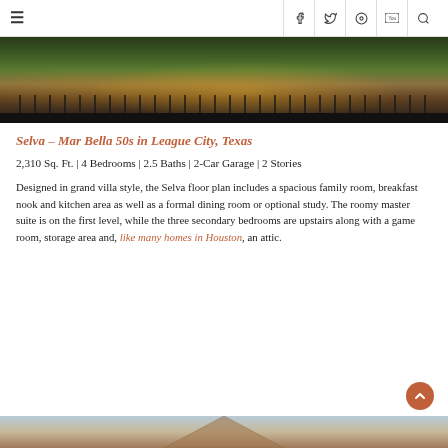≡  f  🐦  ♕  ▶  🔍
[Figure (photo): Exterior nighttime photo of a home with landscaping, flowers, and a black iron fence in the foreground.]
Selva – Mar Bella 50s in League City, Texas
2,310 Sq. Ft. | 4 Bedrooms | 2.5 Baths | 2-Car Garage | 2 Stories
Designed in grand villa style, the Selva floor plan includes a spacious family room, breakfast nook and kitchen area as well as a formal dining room or optional study. The roomy master suite is on the first level, while the three secondary bedrooms are upstairs along with a game room, storage area and, like many homes in Houston, an attic.
[Figure (photo): Partial view of a home exterior with a triangular roofline visible against a light sky.]